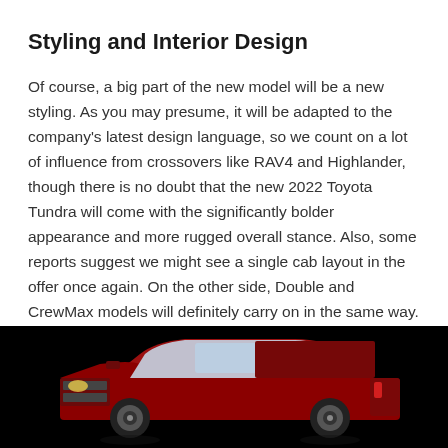Styling and Interior Design
Of course, a big part of the new model will be a new styling. As you may presume, it will be adapted to the company's latest design language, so we count on a lot of influence from crossovers like RAV4 and Highlander, though there is no doubt that the new 2022 Toyota Tundra will come with the significantly bolder appearance and more rugged overall stance. Also, some reports suggest we might see a single cab layout in the offer once again. On the other side, Double and CrewMax models will definitely carry on in the same way.
[Figure (photo): A red Toyota Tundra truck photographed from the side, shown against a dark/black background. The vehicle is a crew cab pickup truck.]